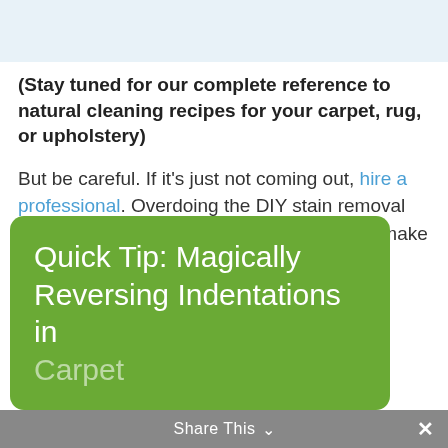[Figure (other): Light blue banner at top of page]
(Stay tuned for our complete reference to natural cleaning recipes for your carpet, rug, or upholstery)
But be careful. If it's just not coming out, hire a professional. Overdoing the DIY stain removal can make the situation worse, and actually make it harder for the professional to clean out the stain.
Quick Tip: Magically Reversing Indentations in Carpet
Share This ∨  ✕